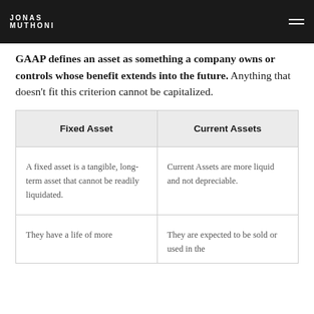JONAS MUTHONI
GAAP defines an asset as something a company owns or controls whose benefit extends into the future. Anything that doesn't fit this criterion cannot be capitalized.
| Fixed Asset | Current Assets |
| --- | --- |
| A fixed asset is a tangible, long-term asset that cannot be readily liquidated. | Current Assets are more liquid and not depreciable. |
| They have a life of more | They are expected to be sold or used in the |